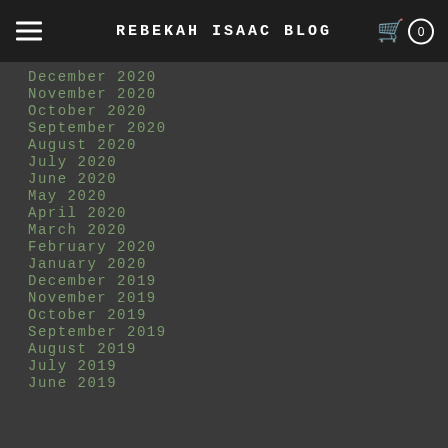REBEKAH ISAAC BLOG
December 2020
November 2020
October 2020
September 2020
August 2020
July 2020
June 2020
May 2020
April 2020
March 2020
February 2020
January 2020
December 2019
November 2019
October 2019
September 2019
August 2019
July 2019
June 2019